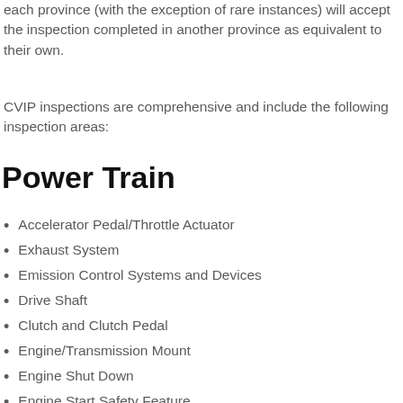each province (with the exception of rare instances) will accept the inspection completed in another province as equivalent to their own.
CVIP inspections are comprehensive and include the following inspection areas:
Power Train
Accelerator Pedal/Throttle Actuator
Exhaust System
Emission Control Systems and Devices
Drive Shaft
Clutch and Clutch Pedal
Engine/Transmission Mount
Engine Shut Down
Engine Start Safety Feature
Gear Position Indicator